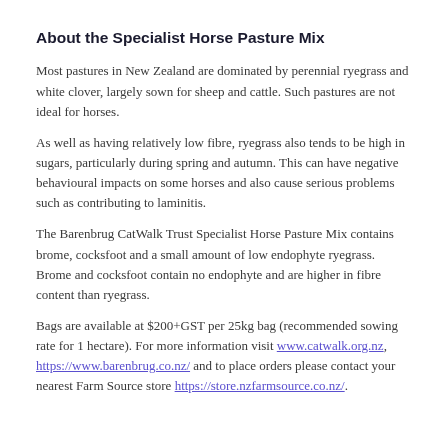About the Specialist Horse Pasture Mix
Most pastures in New Zealand are dominated by perennial ryegrass and white clover, largely sown for sheep and cattle. Such pastures are not ideal for horses.
As well as having relatively low fibre, ryegrass also tends to be high in sugars, particularly during spring and autumn. This can have negative behavioural impacts on some horses and also cause serious problems such as contributing to laminitis.
The Barenbrug CatWalk Trust Specialist Horse Pasture Mix contains brome, cocksfoot and a small amount of low endophyte ryegrass. Brome and cocksfoot contain no endophyte and are higher in fibre content than ryegrass.
Bags are available at $200+GST per 25kg bag (recommended sowing rate for 1 hectare). For more information visit www.catwalk.org.nz, https://www.barenbrug.co.nz/ and to place orders please contact your nearest Farm Source store https://store.nzfarmsource.co.nz/.